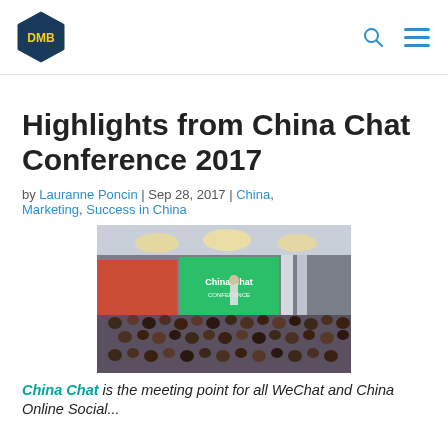DMB logo | search icon | menu icon
Highlights from China Chat Conference 2017
by Lauranne Poncin | Sep 28, 2017 | China, Marketing, Success in China
[Figure (photo): Conference room photo showing audience seated at tables facing a stage with a green 'China Chat' banner and a speaker at the podium, with circular pendant lights overhead.]
China Chat is the meeting point for all WeChat and China Online Social...